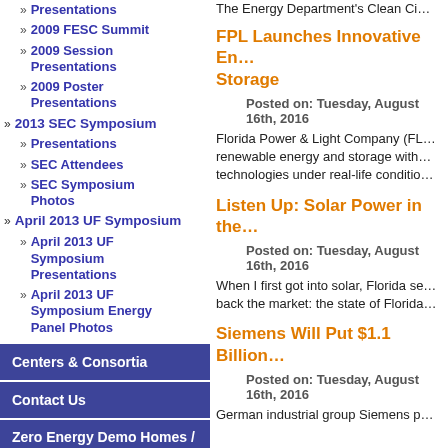Presentations
2009 FESC Summit
2009 Session Presentations
2009 Poster Presentations
2013 SEC Symposium
Presentations
SEC Attendees
SEC Symposium Photos
April 2013 UF Symposium
April 2013 UF Symposium Presentations
April 2013 UF Symposium Energy Panel Photos
Centers & Consortia
Contact Us
Zero Energy Demo Homes / Solar Decathlon Houses
The Energy Department's Clean Ci…
FPL Launches Innovative En… Storage
Posted on: Tuesday, August 16th, 2016
Florida Power & Light Company (FL… renewable energy and storage with… technologies under real-life conditio…
Listen Up: Solar Power in the…
Posted on: Tuesday, August 16th, 2016
When I first got into solar, Florida se… back the market: the state of Florida…
Siemens Will Put $1.1 Billion…
Posted on: Tuesday, August 16th, 2016
German industrial group Siemens p…